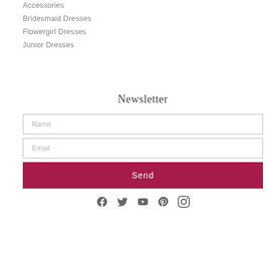Accessories
Bridesmaid Dresses
Flowergirl Dresses
Junior Dresses
Newsletter
Name
Email
Send
[Figure (illustration): Social media icons: Facebook, Twitter, YouTube, Pinterest, Instagram]